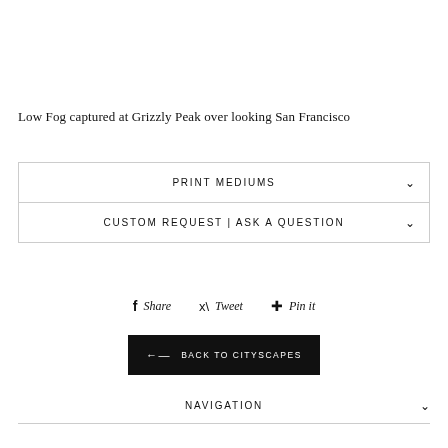Low Fog captured at Grizzly Peak over looking San Francisco
PRINT MEDIUMS
CUSTOM REQUEST | ASK A QUESTION
Share  Tweet  Pin it
← BACK TO CITYSCAPES
NAVIGATION